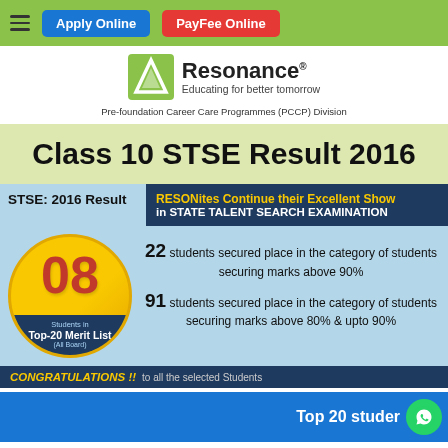Apply Online | PayFee Online
[Figure (logo): Resonance logo with text: Resonance® Educating for better tomorrow, Pre-foundation Career Care Programmes (PCCP) Division]
Class 10 STSE Result 2016
[Figure (infographic): STSE 2016 Result infographic: 08 Students in Top-20 Merit List (All Board). RESONites Continue their Excellent Show in STATE TALENT SEARCH EXAMINATION. 22 students secured place in the category of students securing marks above 90%. 91 students secured place in the category of students securing marks above 80% & upto 90%. CONGRATULATIONS !! to all the selected Students.]
Top 20 studer